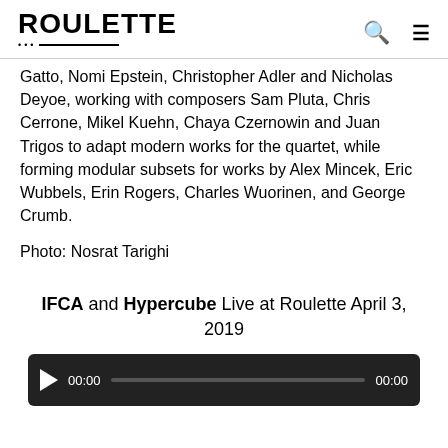ROULETTE
Gatto, Nomi Epstein, Christopher Adler and Nicholas Deyoe, working with composers Sam Pluta, Chris Cerrone, Mikel Kuehn, Chaya Czernowin and Juan Trigos to adapt modern works for the quartet, while forming modular subsets for works by Alex Mincek, Eric Wubbels, Erin Rogers, Charles Wuorinen, and George Crumb.
Photo: Nosrat Tarighi
IFCA and Hypercube Live at Roulette April 3, 2019
[Figure (other): Audio player with play button, time display 00:00, progress bar, and end time 00:00 on dark background]